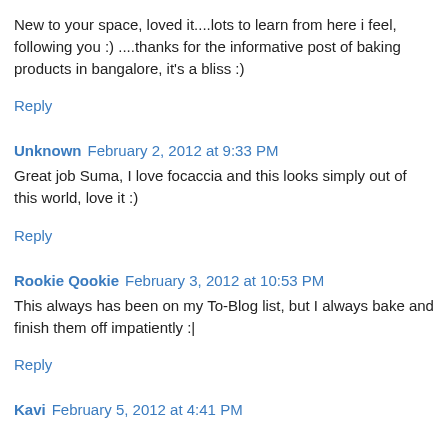New to your space, loved it....lots to learn from here i feel, following you :) ....thanks for the informative post of baking products in bangalore, it's a bliss :)
Reply
Unknown  February 2, 2012 at 9:33 PM
Great job Suma, I love focaccia and this looks simply out of this world, love it :)
Reply
Rookie Qookie  February 3, 2012 at 10:53 PM
This always has been on my To-Blog list, but I always bake and finish them off impatiently :|
Reply
Kavi  February 5, 2012 at 4:41 PM